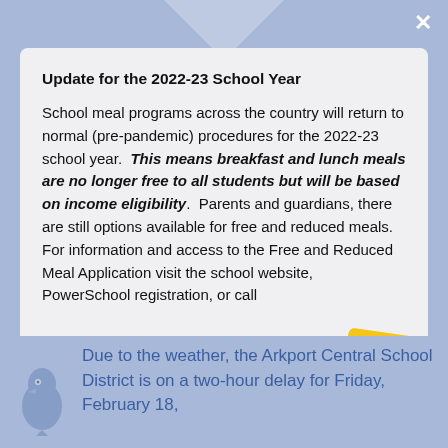Update for the 2022-23 School Year
School meal programs across the country will return to normal (pre-pandemic) procedures for the 2022-23 school year.  This means breakfast and lunch meals are no longer free to all students but will be based on income eligibility.  Parents and guardians, there are still options available for free and reduced meals. For information and access to the Free and Reduced Meal Application visit the school website,  PowerSchool registration, or call
[Figure (illustration): Yellow square smiley face emoji sticker with two dot eyes and a curved smile]
Due to the weather, the Arkport Central School District is on a two-hour delay for Friday, February 18,